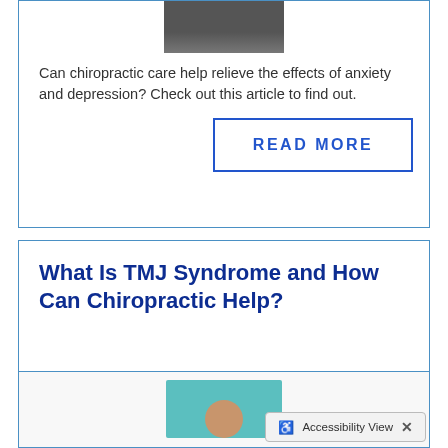[Figure (photo): Photo of person at laptop/desk, shown at top of article card]
Can chiropractic care help relieve the effects of anxiety and depression? Check out this article to find out.
READ MORE
What Is TMJ Syndrome and How Can Chiropractic Help?
[Figure (photo): Photo of person (head visible) against teal background, bottom of page with Accessibility View overlay]